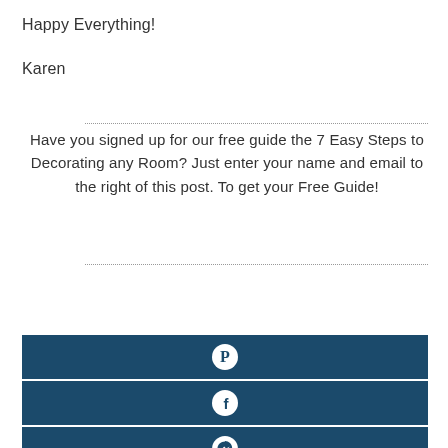Happy Everything!
Karen
Have you signed up for our free guide the 7 Easy Steps to Decorating any Room?  Just enter your name and email to the right of this post. To get your Free Guide!
[Figure (infographic): Three dark navy blue social share buttons stacked vertically: Pinterest (P icon), Facebook (f icon), and Messenger (chat icon)]